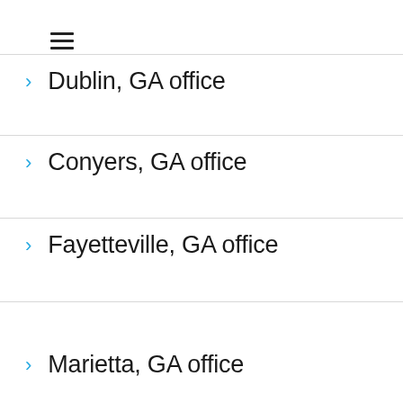Dublin, GA office
Conyers, GA office
Fayetteville, GA office
Marietta, GA office